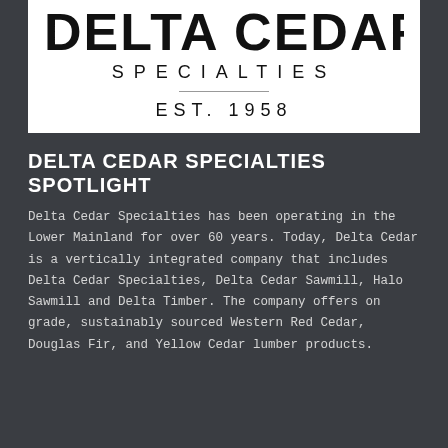[Figure (logo): Delta Cedar Specialties logo with large bold text 'DELTA CEDAR' at top (partially cropped), 'SPECIALTIES' in spaced capitals, a horizontal divider line, and 'EST. 1958' below, all on white background.]
DELTA CEDAR SPECIALTIES SPOTLIGHT
Delta Cedar Specialties has been operating in the Lower Mainland for over 60 years. Today, Delta Cedar is a vertically integrated company that includes Delta Cedar Specialties, Delta Cedar Sawmill, Halo Sawmill and Delta Timber. The company offers on grade, sustainably sourced Western Red Cedar, Douglas Fir, and Yellow Cedar lumber products.